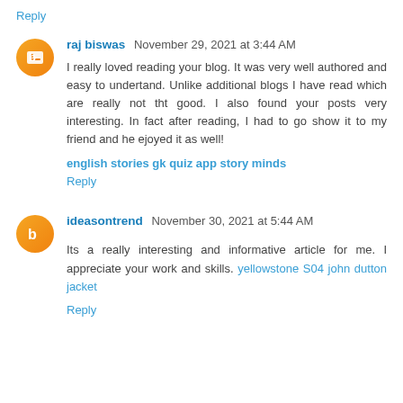Reply
raj biswas November 29, 2021 at 3:44 AM
I really loved reading your blog. It was very well authored and easy to undertand. Unlike additional blogs I have read which are really not tht good. I also found your posts very interesting. In fact after reading, I had to go show it to my friend and he ejoyed it as well!
english stories gk quiz app story minds
Reply
ideasontrend November 30, 2021 at 5:44 AM
Its a really interesting and informative article for me. I appreciate your work and skills. yellowstone S04 john dutton jacket
Reply